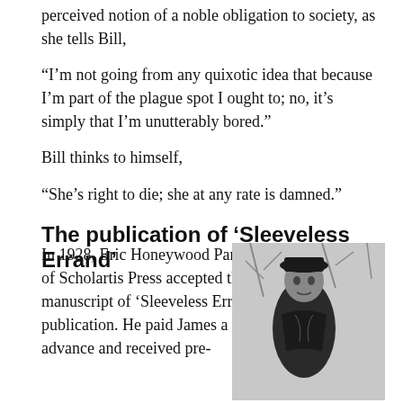perceived notion of a noble obligation to society, as she tells Bill,
“I’m not going from any quixotic idea that because I’m part of the plague spot I ought to; no, it’s simply that I’m unutterably bored.”
Bill thinks to himself,
“She’s right to die; she at any rate is damned.”
The publication of ‘Sleeveless Errand’
In 1928, Eric Honeywood Partridge of Scholartis Press accepted the manuscript of ‘Sleeveless Errand’ for publication. He paid James a £25 advance and received pre-
[Figure (photo): Black and white photograph of an elderly man wearing a dark coat and hat, standing outdoors with bare trees in the background.]